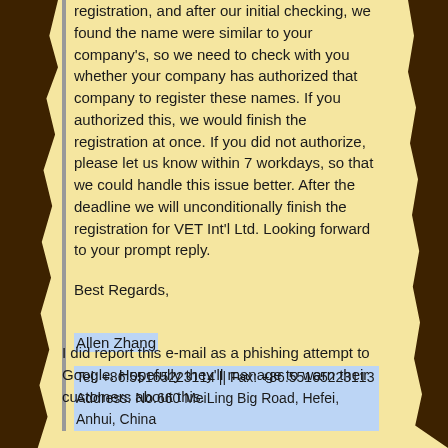registration, and after our initial checking, we found the name were similar to your company's, so we need to check with you whether your company has authorized that company to register these names. If you authorized this, we would finish the registration at once. If you did not authorize, please let us know within 7 workdays, so that we could handle this issue better. After the deadline we will unconditionally finish the registration for VET Int'l Ltd. Looking forward to your prompt reply.
Best Regards,
Allen Zhang
Tel: +86.55165223114 || Fax: +86.55165223113
Address: No.660 MeiLing Big Road, Hefei, Anhui, China
I did report this e-mail as a phishing attempt to Google. Hopefully they'll manage to warn their customers about this.